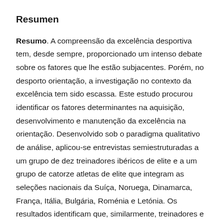Resumen
Resumo. A compreensão da excelência desportiva tem, desde sempre, proporcionado um intenso debate sobre os fatores que lhe estão subjacentes. Porém, no desporto orientação, a investigação no contexto da excelência tem sido escassa. Este estudo procurou identificar os fatores determinantes na aquisição, desenvolvimento e manutenção da excelência na orientação. Desenvolvido sob o paradigma qualitativo de análise, aplicou-se entrevistas semiestruturadas a um grupo de dez treinadores ibéricos de elite e a um grupo de catorze atletas de elite que integram as seleções nacionais da Suíça, Noruega, Dinamarca, França, Itália, Bulgária, Roménia e Letónia. Os resultados identificam que, similarmente, treinadores e atletas consideram os fatores secundários associados aos aspetos sócio contextuais como a família, os amigos/pares e o treinador, e os aspetos socioculturais como